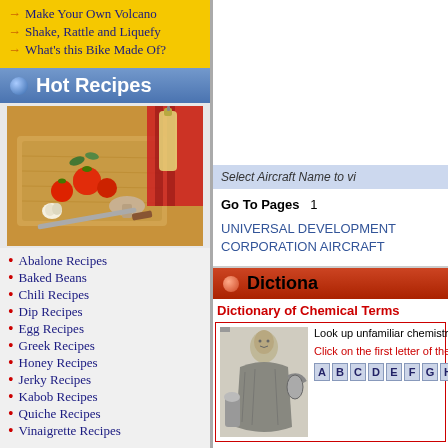Make Your Own Volcano
Shake, Rattle and Liquefy
What's this Bike Made Of?
Hot Recipes
[Figure (photo): Food photo showing olive oil bottle, tomatoes, garlic, mushrooms and herbs on wooden cutting board with red cloth]
Abalone Recipes
Baked Beans
Chili Recipes
Dip Recipes
Egg Recipes
Greek Recipes
Honey Recipes
Jerky Recipes
Kabob Recipes
Quiche Recipes
Vinaigrette Recipes
More>>
Select Aircraft Name to vi
Go To Pages   1
UNIVERSAL DEVELOPMENT CORPORATION AIRCRAFT
Dictiona
Dictionary of Chemical Terms
[Figure (illustration): Black and white illustration of an alchemist figure in robes working with vessels and equipment]
Look up unfamiliar chemistry te
Click on the first letter of the wo
A B C D E F G H I J K L
Plasma Dictionary